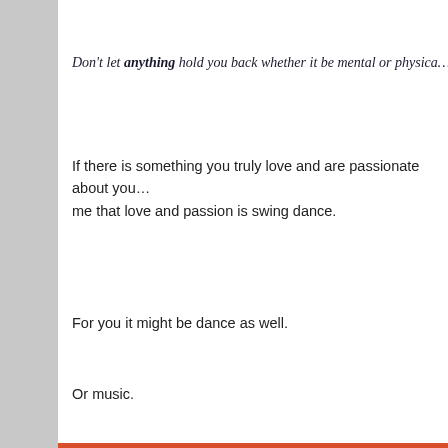Don’t let anything hold you back whether it be mental or physica…
If there is something you truly love and are passionate about you… me that love and passion is swing dance.
For you it might be dance as well.
Or music.
Or painting.
[Figure (screenshot): Dark navy banner with pink 'Start a survey' button and partial logo on right]
Privacy & Cookies: This site uses cookies. By continuing to use this website, you agree to their use.
To find out more, including how to control cookies, see here: Cookie Policy
Close and accept